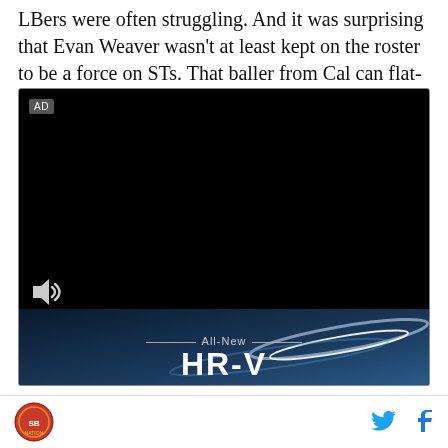LBers were often struggling. And it was surprising that Evan Weaver wasn't at least kept on the roster to be a force on STs. That baller from Cal can flat-out tackle.
[Figure (other): Video player showing an advertisement for the All-New HR-V. The player has a black background with an AD label, a speaker/mute icon at bottom left, and a decorative blue-toned abstract background in the lower portion with the text 'All-New' and 'HR-V' displayed.]
Social share icons: Twitter and Facebook